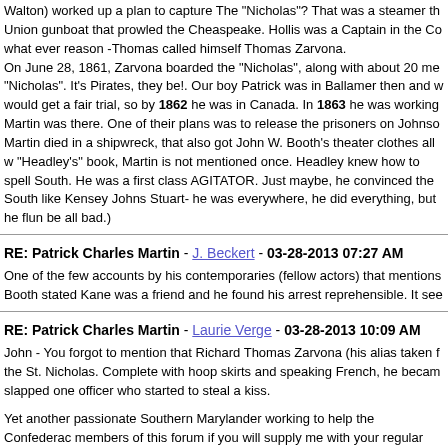Walton) worked up a plan to capture The 'Nicholas'? That was a steamer th Union gunboat that prowled the Cheaspeake. Hollis was a Captain in the Co what ever reason -Thomas called himself Thomas Zarvona. On June 28, 1861, Zarvona boarded the "Nicholas", along with about 20 me "Nicholas". It's Pirates, they be!. Our boy Patrick was in Ballamer then and w would get a fair trial, so by 1862 he was in Canada. In 1863 he was working Martin was there. One of their plans was to release the prisoners on Johnso Martin died in a shipwreck, that also got John W. Booth's theater clothes all w "Headley's" book, Martin is not mentioned once. Headley knew how to spell South. He was a first class AGITATOR. Just maybe, he convinced the South like Kensey Johns Stuart- he was everywhere, he did everything, but he flun be all bad.)
RE: Patrick Charles Martin - J. Beckert - 03-28-2013 07:27 AM
One of the few accounts by his contemporaries (fellow actors) that mentions Booth stated Kane was a friend and he found his arrest reprehensible. It see
RE: Patrick Charles Martin - Laurie Verge - 03-28-2013 10:09 AM
John - You forgot to mention that Richard Thomas Zarvona (his alias taken f the St. Nicholas. Complete with hoop skirts and speaking French, he becam slapped one officer who started to steal a kiss.
Yet another passionate Southern Marylander working to help the Confederac members of this forum if you will supply me with your regular mailing addres